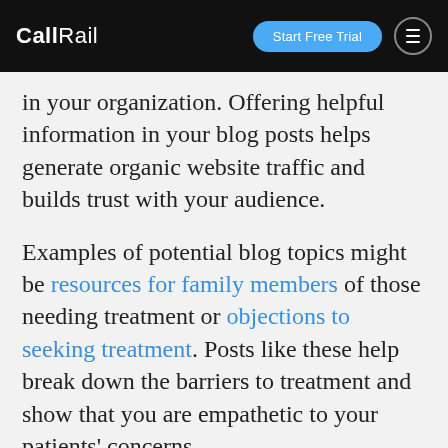CallRail — Start Free Trial
in your organization. Offering helpful information in your blog posts helps generate organic website traffic and builds trust with your audience.
Examples of potential blog topics might be resources for family members of those needing treatment or objections to seeking treatment. Posts like these help break down the barriers to treatment and show that you are empathetic to your patients' concerns.